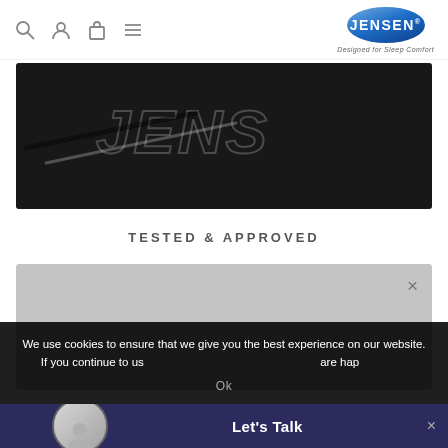Jensen - Designed for Sleep Comfort
[Figure (photo): Close-up photo of dark textured fabric with embroidered JENSEN text/logo in white thread]
TESTED & APPROVED
[Figure (other): Gray media/video placeholder block with close (X) button in top right corner]
We use cookies to ensure that we give you the best experience on our website. If you continue to use this site we will assume that you are happy
Ok
Let's Talk